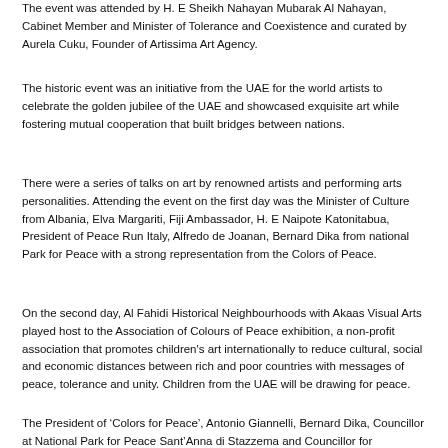The event was attended by H. E Sheikh Nahayan Mubarak Al Nahayan, Cabinet Member and Minister of Tolerance and Coexistence and curated by Aurela Cuku, Founder of Artissima Art Agency.
The historic event was an initiative from the UAE for the world artists to celebrate the golden jubilee of the UAE and showcased exquisite art while fostering mutual cooperation that built bridges between nations.
There were a series of talks on art by renowned artists and performing arts personalities. Attending the event on the first day was the Minister of Culture from Albania, Elva Margariti, Fiji Ambassador, H. E Naipote Katonitabua, President of Peace Run Italy, Alfredo de Joanan, Bernard Dika from national Park for Peace with a strong representation from the Colors of Peace.
On the second day, Al Fahidi Historical Neighbourhoods with Akaas Visual Arts played host to the Association of Colours of Peace exhibition, a non-profit association that promotes children's art internationally to reduce cultural, social and economic distances between rich and poor countries with messages of peace, tolerance and unity. Children from the UAE will be drawing for peace.
The President of ‘Colors for Peace’, Antonio Giannelli, Bernard Dika, Councillor at National Park for Peace Sant’Anna di Stazzema and Councillor for Innovation